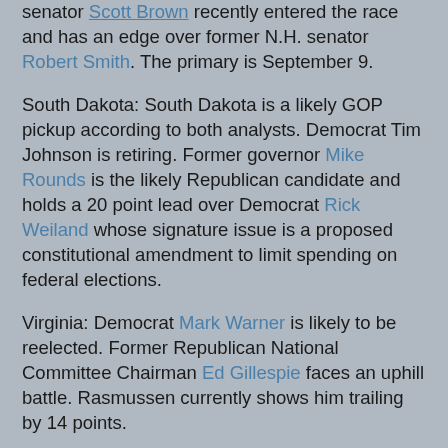senator Scott Brown recently entered the race and has an edge over former N.H. senator Robert Smith. The primary is September 9.
South Dakota: South Dakota is a likely GOP pickup according to both analysts. Democrat Tim Johnson is retiring. Former governor Mike Rounds is the likely Republican candidate and holds a 20 point lead over Democrat Rick Weiland whose signature issue is a proposed constitutional amendment to limit spending on federal elections.
Virginia: Democrat Mark Warner is likely to be reelected. Former Republican National Committee Chairman Ed Gillespie faces an uphill battle. Rasmussen currently shows him trailing by 14 points.
West Virginia: West Virginia also leans Republican. Democrat Jay Rockefeller is retiring. Republican Rep. Shelly Moore Capito is likely to face Secretary of State Natalie Tennant in the general election. Capito holds a 14 point lead according to Rasmussen.
While...